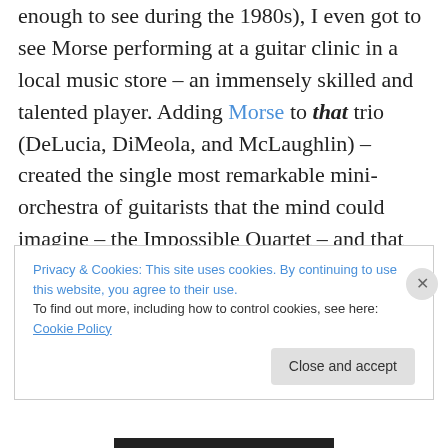enough to see during the 1980s), I even got to see Morse performing at a guitar clinic in a local music store – an immensely skilled and talented player. Adding Morse to that trio (DeLucia, DiMeola, and McLaughlin) – created the single most remarkable mini-orchestra of guitarists that the mind could imagine – the Impossible Quartet – and that show was even better than the standard trio show that I saw the previous year.  What an experience!
And then – I went to see Allan Holdsworth.  I was beginning to get into jazz, a little bit – I've never really played it, but I do have huge respect for those that play it
Privacy & Cookies: This site uses cookies. By continuing to use this website, you agree to their use. To find out more, including how to control cookies, see here: Cookie Policy